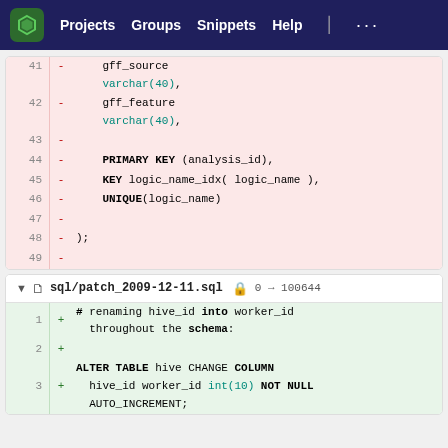Projects  Groups  Snippets  Help  ...
[Figure (screenshot): Code diff showing SQL lines 41-49 with deleted lines (pink background): gff_source varchar(40), gff_feature varchar(40), PRIMARY KEY (analysis_id), KEY logic_name_idx( logic_name ), UNIQUE(logic_name), );]
sql/patch_2009-12-11.sql 0 → 100644
[Figure (screenshot): Code diff showing added lines (green background): # renaming hive_id into worker_id throughout the schema: ALTER TABLE hive CHANGE COLUMN hive_id worker_id int(10) NOT NULL AUTO_INCREMENT;]